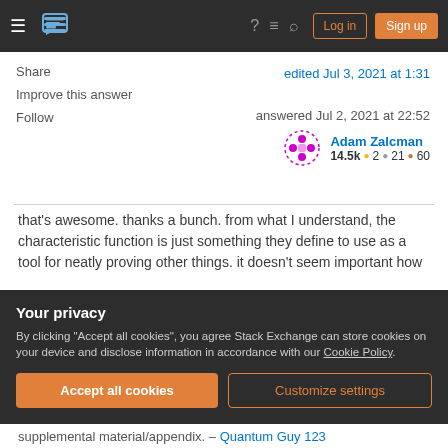Stack Exchange navigation bar with Log in and Sign up buttons
Share
Improve this answer
Follow
edited Jul 3, 2021 at 1:31
answered Jul 2, 2021 at 22:52
Adam Zalcman
14.5k ● 2 ● 21 ● 60
that's awesome. thanks a bunch. from what I understand, the characteristic function is just something they define to use as a tool for neatly proving other things. it doesn't seem important how
Your privacy
By clicking "Accept all cookies", you agree Stack Exchange can store cookies on your device and disclose information in accordance with our Cookie Policy.
Accept all cookies
Customize settings
supplemental material/appendix. – Quantum Guy 123